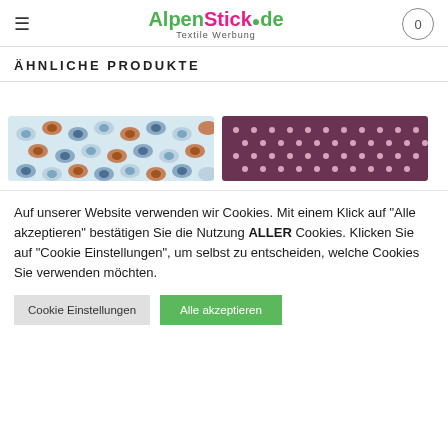AlpenStick.de Textile Werbung
ÄHNLICHE PRODUKTE
[Figure (photo): Two textile product images: left shows a light blue fabric with colorful leaf/tree pattern in blue, orange, and gray; right shows a dark purple/maroon fabric with small white star/dot pattern]
Auf unserer Website verwenden wir Cookies. Mit einem Klick auf "Alle akzeptieren" bestätigen Sie die Nutzung ALLER Cookies. Klicken Sie auf "Cookie Einstellungen", um selbst zu entscheiden, welche Cookies Sie verwenden möchten.
Cookie Einstellungen | Alle akzeptieren